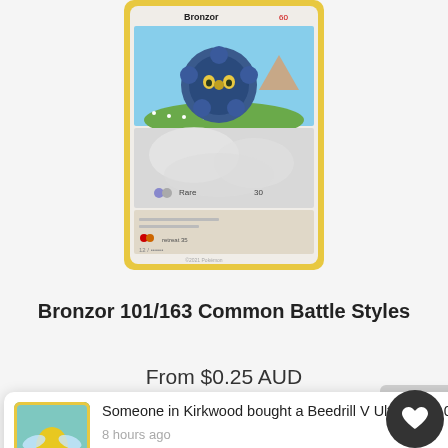[Figure (illustration): Bronzor Pokemon card (101/163 Common, Battle Styles set) with yellow border. Shows Bronzor character against a sky and field background. Card reads 'Rare' and has 30 HP attack listed.]
Bronzor 101/163 Common Battle Styles
From $0.25 AUD
Someone in Kirkwood bought a Beedrill V Ultra Rare 001/189 Astral Radiance
8 hours ago